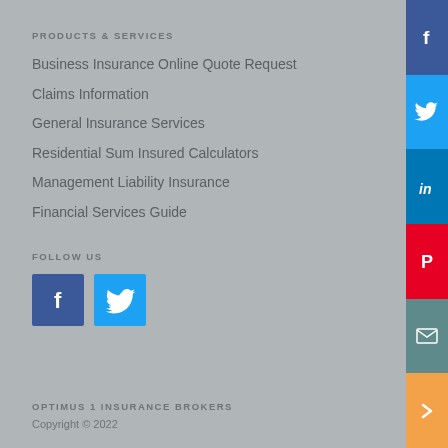PRODUCTS & SERVICES
Business Insurance Online Quote Request
Claims Information
General Insurance Services
Residential Sum Insured Calculators
Management Liability Insurance
Financial Services Guide
FOLLOW US
[Figure (logo): Facebook icon button (blue square with white F logo)]
[Figure (logo): Twitter icon button (light blue square with white bird logo)]
OPTIMUS 1 INSURANCE BROKERS
Copyright © 2022
[Figure (infographic): Right sidebar social share buttons: Facebook (dark blue), Twitter (light blue), LinkedIn (medium blue), Pinterest (red), Email (teal), Arrow (orange)]